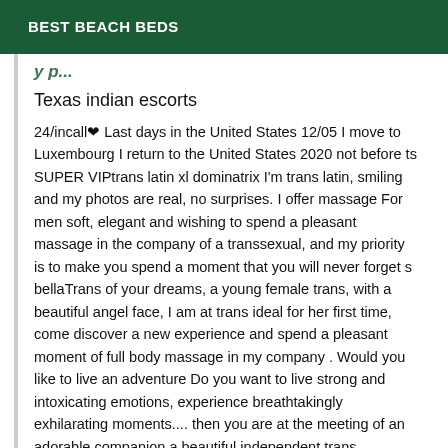BEST BEACH BEDS
Texas indian escorts
24/incall❤ Last days in the United States 12/05 I move to Luxembourg I return to the United States 2020 not before ts SUPER VIPtrans latin xl dominatrix I'm trans latin, smiling and my photos are real, no surprises. I offer massage For men soft, elegant and wishing to spend a pleasant massage in the company of a transsexual, and my priority is to make you spend a moment that you will never forget s bellaTrans of your dreams, a young female trans, with a beautiful angel face, I am at trans ideal for her first time, come discover a new experience and spend a pleasant moment of full body massage in my company . Would you like to live an adventure Do you want to live strong and intoxicating emotions, experience breathtakingly exhilarating moments.... then you are at the meeting of an adorable companion a beautiful independent trans.... Sublime beauty...